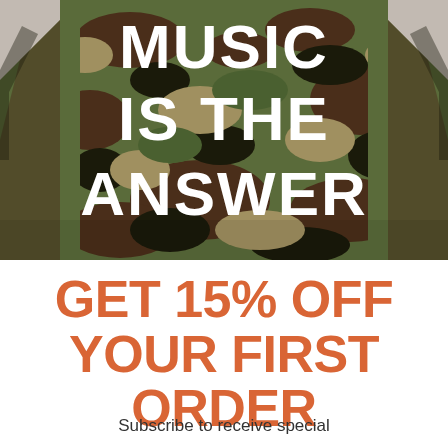[Figure (photo): Person wearing a camouflage bomber jacket from behind, with large white text on back reading 'MUSIC IS THE ANSWER']
×
GET 15% OFF YOUR FIRST ORDER
Subscribe to receive special